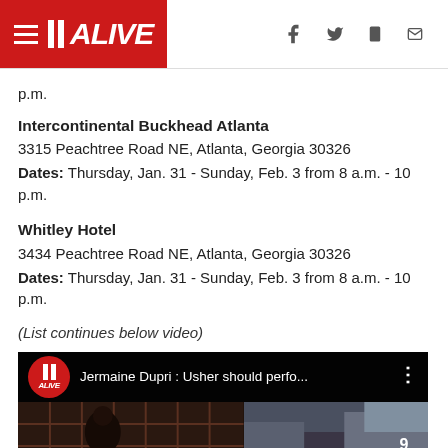11 ALIVE
p.m.
Intercontinental Buckhead Atlanta
3315 Peachtree Road NE, Atlanta, Georgia 30326
Dates: Thursday, Jan. 31 - Sunday, Feb. 3 from 8 a.m. - 10 p.m.
Whitley Hotel
3434 Peachtree Road NE, Atlanta, Georgia 30326
Dates: Thursday, Jan. 31 - Sunday, Feb. 3 from 8 a.m. - 10 p.m.
(List continues below video)
[Figure (screenshot): Video thumbnail showing 11 Alive logo and title 'Jermaine Dupri : Usher should perfo...' with video content below]